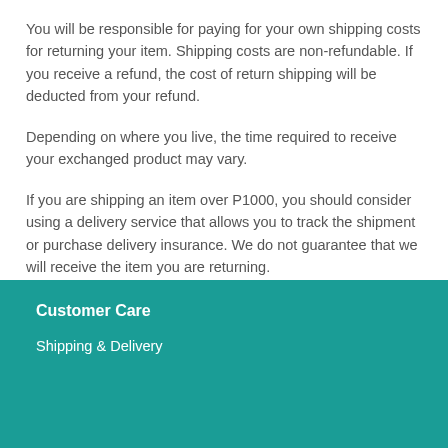You will be responsible for paying for your own shipping costs for returning your item. Shipping costs are non-refundable. If you receive a refund, the cost of return shipping will be deducted from your refund.
Depending on where you live, the time required to receive your exchanged product may vary.
If you are shipping an item over P1000, you should consider using a delivery service that allows you to track the shipment or purchase delivery insurance. We do not guarantee that we will receive the item you are returning.
Hope it helps!
Customer Care
Shipping & Delivery